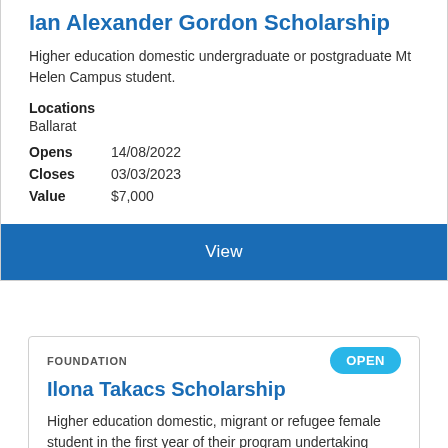Ian Alexander Gordon Scholarship
Higher education domestic undergraduate or postgraduate Mt Helen Campus student.
Locations
Ballarat
Opens  14/08/2022
Closes  03/03/2023
Value  $7,000
View
FOUNDATION
OPEN
Ilona Takacs Scholarship
Higher education domestic, migrant or refugee female student in the first year of their program undertaking